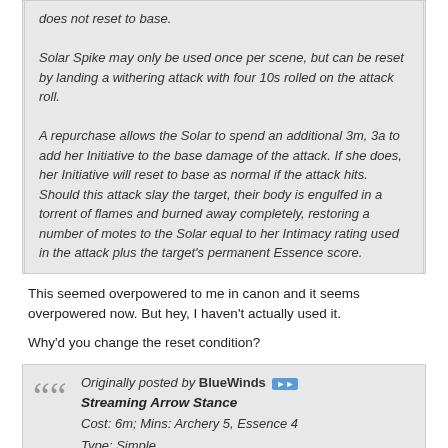does not reset to base.

Solar Spike may only be used once per scene, but can be reset by landing a withering attack with four 10s rolled on the attack roll.

A repurchase allows the Solar to spend an additional 3m, 3a to add her Initiative to the base damage of the attack. If she does, her Initiative will reset to base as normal if the attack hits. Should this attack slay the target, their body is engulfed in a torrent of flames and burned away completely, restoring a number of motes to the Solar equal to her Intimacy rating used in the attack plus the target's permanent Essence score.
This seemed overpowered to me in canon and it seems overpowered now. But hey, I haven't actually used it.
Why'd you change the reset condition?
Originally posted by BlueWinds
Streaming Arrow Stance
Cost: 6m; Mins: Archery 5, Essence 4
Type: Simple
Keywords: Quickshot
Duration: One scene
Prerequisite Charms: Finishing Snipe

The Lawgiver makes a withering or decisive attack on a crashed target. (Note the Quickshot keyword)